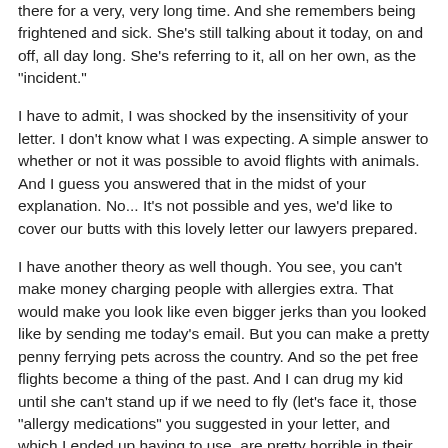there for a very, very long time. And she remembers being frightened and sick. She's still talking about it today, on and off, all day long. She's referring to it, all on her own, as the "incident."
I have to admit, I was shocked by the insensitivity of your letter. I don't know what I was expecting. A simple answer to whether or not it was possible to avoid flights with animals. And I guess you answered that in the midst of your explanation. No... It's not possible and yes, we'd like to cover our butts with this lovely letter our lawyers prepared.
I have another theory as well though. You see, you can't make money charging people with allergies extra. That would make you look like even bigger jerks than you looked like by sending me today's email. But you can make a pretty penny ferrying pets across the country. And so the pet free flights become a thing of the past. And I can drug my kid until she can't stand up if we need to fly (let's face it, those "allergy medications" you suggested in your letter, and which I ended up having to use, are pretty horrible in their own right).